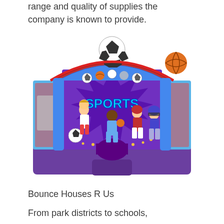range and quality of supplies the company is known to provide.
[Figure (photo): A colorful sports-themed inflatable bounce house with a soccer ball and basketball on top, featuring cartoon children playing various sports on the front panel with 'SPORTS' text, purple base, red and blue accents.]
Bounce Houses R Us
From park districts to schools,